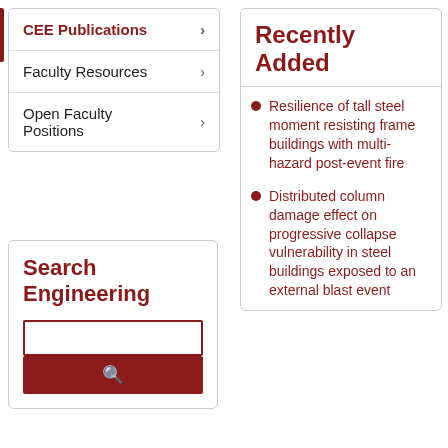CEE Publications
Faculty Resources
Open Faculty Positions
Search Engineering
Recently Added
Resilience of tall steel moment resisting frame buildings with multi-hazard post-event fire
Distributed column damage effect on progressive collapse vulnerability in steel buildings exposed to an external blast event